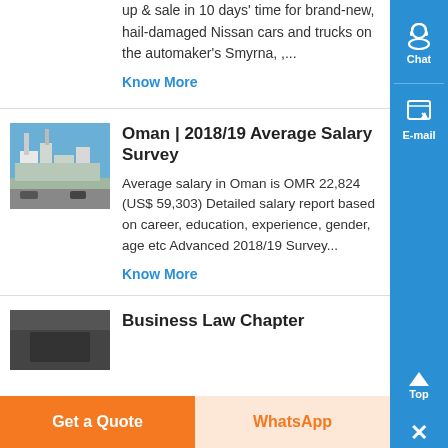up & sale in 10 days' time for brand-new, hail-damaged Nissan cars and trucks on the automaker's Smyrna, ,...
Know More
Oman | 2018/19 Average Salary Survey
[Figure (photo): Industrial/plant facility building exterior photo]
Average salary in Oman is OMR 22,824 (US$ 59,303) Detailed salary report based on career, education, experience, gender, age etc Advanced 2018/19 Survey...
Know More
Business Law Chapter